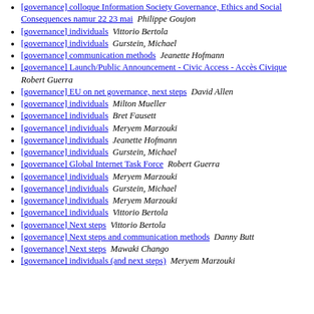[governance] colloque Information Society Governance, Ethics and Social Consequences namur 22 23 mai  Philippe Goujon
[governance] individuals  Vittorio Bertola
[governance] individuals  Gurstein, Michael
[governance] communication methods  Jeanette Hofmann
[governance] Launch/Public Announcement - Civic Access - Accès Civique  Robert Guerra
[governance] EU on net governance, next steps  David Allen
[governance] individuals  Milton Mueller
[governance] individuals  Bret Fausett
[governance] individuals  Meryem Marzouki
[governance] individuals  Jeanette Hofmann
[governance] individuals  Gurstein, Michael
[governance] Global Internet Task Force  Robert Guerra
[governance] individuals  Meryem Marzouki
[governance] individuals  Gurstein, Michael
[governance] individuals  Meryem Marzouki
[governance] individuals  Vittorio Bertola
[governance] Next steps  Vittorio Bertola
[governance] Next steps and communication methods  Danny Butt
[governance] Next steps  Mawaki Chango
[governance] individuals (and next steps)  Meryem Marzouki